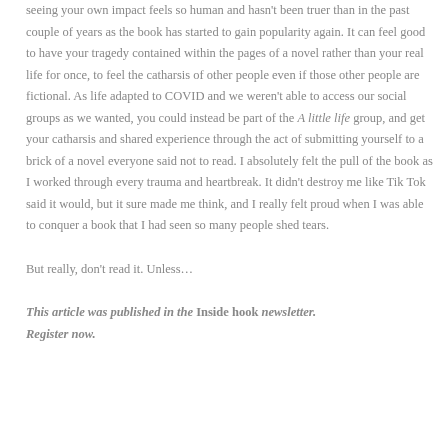seeing your own impact feels so human and hasn't been truer than in the past couple of years as the book has started to gain popularity again. It can feel good to have your tragedy contained within the pages of a novel rather than your real life for once, to feel the catharsis of other people even if those other people are fictional. As life adapted to COVID and we weren't able to access our social groups as we wanted, you could instead be part of the A little life group, and get your catharsis and shared experience through the act of submitting yourself to a brick of a novel everyone said not to read. I absolutely felt the pull of the book as I worked through every trauma and heartbreak. It didn't destroy me like Tik Tok said it would, but it sure made me think, and I really felt proud when I was able to conquer a book that I had seen so many people shed tears.
But really, don't read it. Unless…
This article was published in the Inside hook newsletter. Register now.